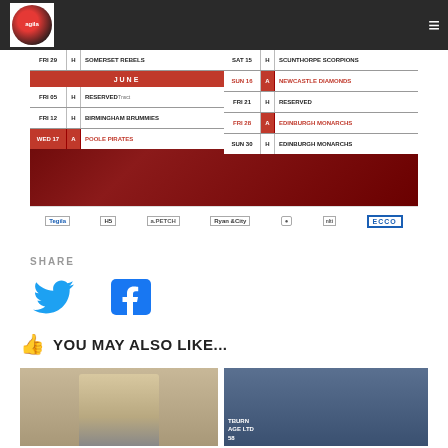Sports website header with logo and menu
[Figure (infographic): Speedway fixtures schedule on red background showing dates, home/away indicators, and team names for May-July. Left column: FRI 29 H SOMERSET REBELS, JUNE header, FRI 05 H RESERVED Tnsct, FRI 12 H BIRMINGHAM BRUMMIES, WED 17 A POOLE PIRATES. Right column: SAT 15 H SCUNTHORPE SCORPIONS, SUN 16 A NEWCASTLE DIAMONDS, FRI 21 H RESERVED, FRI 28 A EDINBURGH MONARCHS, SUN 30 H EDINBURGH MONARCHS. Sponsor logos at bottom.]
SHARE
[Figure (logo): Twitter bird icon (blue)]
[Figure (logo): Facebook logo icon (blue)]
YOU MAY ALSO LIKE...
[Figure (photo): Photo of a young male speedway rider]
[Figure (photo): Photo of speedway racing action with riders on track, TBURN AGE LTD 58 visible on advertising boards]